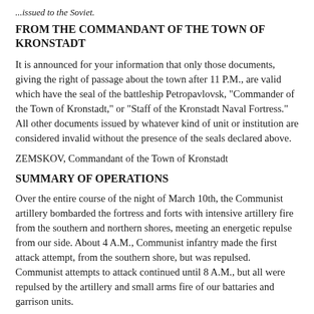...issued to the Soviet.
FROM THE COMMANDANT OF THE TOWN OF KRONSTADT
It is announced for your information that only those documents, giving the right of passage about the town after 11 P.M., are valid which have the seal of the battleship Petropavlovsk, "Commander of the Town of Kronstadt," or "Staff of the Kronstadt Naval Fortress." All other documents issued by whatever kind of unit or institution are considered invalid without the presence of the seals declared above.
ZEMSKOV, Commandant of the Town of Kronstadt
SUMMARY OF OPERATIONS
Over the entire course of the night of March 10th, the Communist artillery bombarded the fortress and forts with intensive artillery fire from the southern and northern shores, meeting an energetic repulse from our side. About 4 A.M., Communist infantry made the first attack attempt, from the southern shore, but was repulsed. Communist attempts to attack continued until 8 A.M., but all were repulsed by the artillery and small arms fire of our battaries and garrison units.
THE CONFUSION OF AUTHORITY